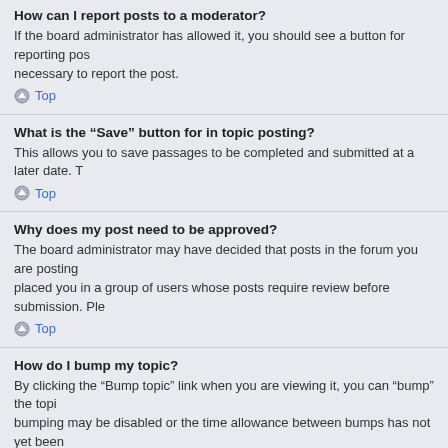How can I report posts to a moderator?
If the board administrator has allowed it, you should see a button for reporting posts necessary to report the post.
Top
What is the “Save” button for in topic posting?
This allows you to save passages to be completed and submitted at a later date.
Top
Why does my post need to be approved?
The board administrator may have decided that posts in the forum you are posting placed you in a group of users whose posts require review before submission. Ple
Top
How do I bump my topic?
By clicking the “Bump topic” link when you are viewing it, you can “bump” the topic bumping may be disabled or the time allowance between bumps has not yet been sure to follow the board rules when doing so.
Top
Formatting And Topic Types
What is BBCode?
BBCode is a special implementation of HTML, offering great formatting control o